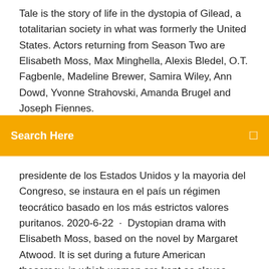Tale is the story of life in the dystopia of Gilead, a totalitarian society in what was formerly the United States. Actors returning from Season Two are Elisabeth Moss, Max Minghella, Alexis Bledel, O.T. Fagbenle, Madeline Brewer, Samira Wiley, Ann Dowd, Yvonne Strahovski, Amanda Brugel and Joseph Fiennes.
[Figure (screenshot): Orange search bar with text 'Search Here' and a search icon on the right]
presidente de los Estados Unidos y la mayoria del Congreso, se instaura en el país un régimen teocrático basado en los más estrictos valores puritanos. 2020-6-22 · Dystopian drama with Elisabeth Moss, based on the novel by Margaret Atwood. It is set during a future American theocracy, in which women are kept as slaves purely for breeding. A review of season three of Hulu's "The Handmaid's Tale," the adaptation of the Margaret Atwood novel starring Elisabeth Moss, Yvonne Strahovski, Joseph Fiennes, Bradley Whitford, Alexis